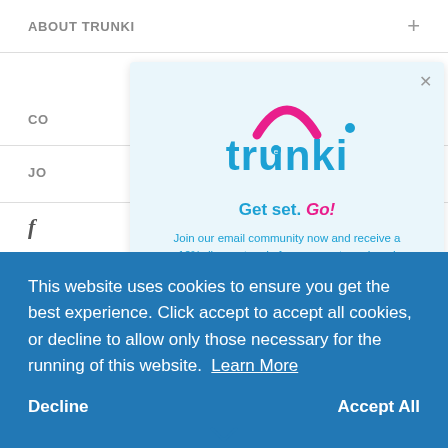ABOUT TRUNKI
CO
JO
[Figure (logo): Trunki logo with pink arch and blue bubbly text reading 'trunki' and tagline 'Get set. Go!']
Join our email community now and receive a 10% discount code for your next purchase!
This website uses cookies to ensure you get the best experience. Click accept to accept all cookies, or decline to allow only those necessary for the running of this website. Learn More
Decline
Accept All